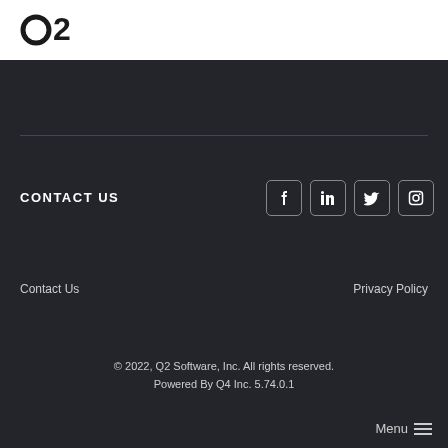Q2
CONTACT US
[Figure (other): Social media icons: Facebook, LinkedIn, Twitter, Instagram]
Contact Us
Privacy Policy
© 2022, Q2 Software, Inc. All rights reserved. Powered By Q4 Inc. 5.74.0.1
Menu